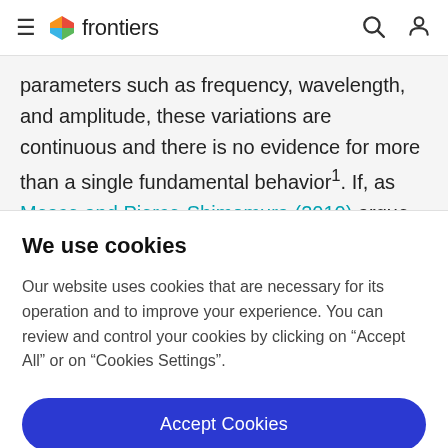frontiers
parameters such as frequency, wavelength, and amplitude, these variations are continuous and there is no evidence for more than a single fundamental behavior¹. If, as Mesce and Pierce-Shimomura (2010) argue, “bends
We use cookies
Our website uses cookies that are necessary for its operation and to improve your experience. You can review and control your cookies by clicking on “Accept All” or on “Cookies Settings”.
Accept Cookies
Cookies Settings